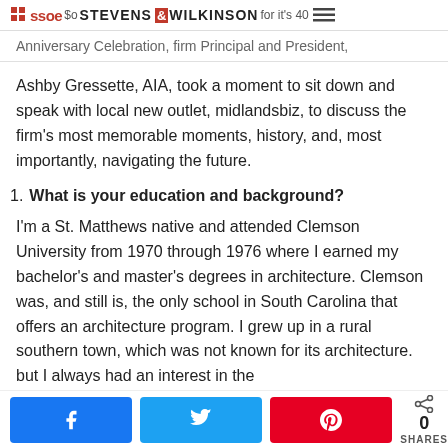SSOE | $o... STEVENS & WILKINSON for it's 40...
Anniversary Celebration, firm Principal and President,
Ashby Gressette, AIA, took a moment to sit down and speak with local new outlet, midlandsbiz, to discuss the firm's most memorable moments, history, and, most importantly, navigating the future.
1. What is your education and background?
I'm a St. Matthews native and attended Clemson University from 1970 through 1976 where I earned my bachelor's and master's degrees in architecture. Clemson was, and still is, the only school in South Carolina that offers an architecture program. I grew up in a rural southern town, which was not known for its architecture. but I always had an interest in the
Share buttons: Facebook, Twitter, Pinterest | 0 SHARES